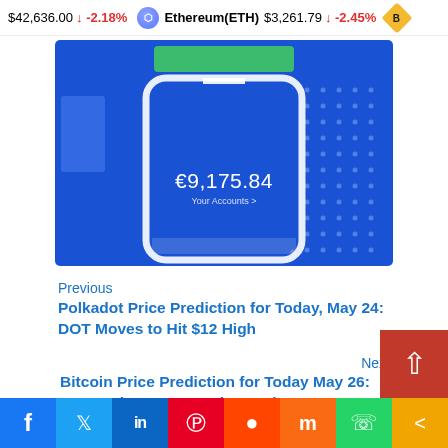$42,636.00 ↓ -2.18%  Ethereum(ETH) $3,261.79 ↓ -2.45%  B
[Figure (screenshot): Mobile banking app screenshot showing balance of €9,175.84 with 'Your Accounts >' label, displayed on a blue background with a phone frame mockup]
Previous
Polkadot Price Prediction for Today, May 24: DOT Moves to Hit $12 High
Next
Bitcoin Price Prediction for Today May 26: BTC Price Recovers but under Pressure above $2…